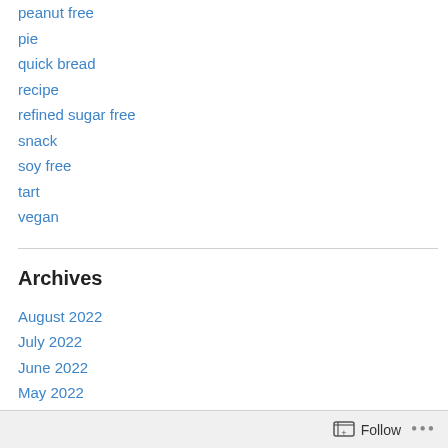peanut free
pie
quick bread
recipe
refined sugar free
snack
soy free
tart
vegan
Archives
August 2022
July 2022
June 2022
May 2022
April 2022
March 2022
Follow ...